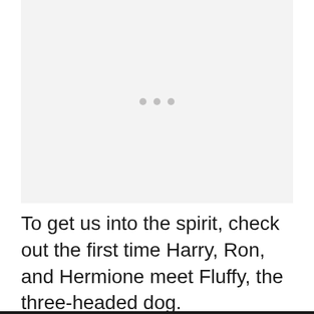[Figure (other): Image placeholder with three grey dots centered, indicating a loading or missing image]
To get us into the spirit, check out the first time Harry, Ron, and Hermione meet Fluffy, the three-headed dog.